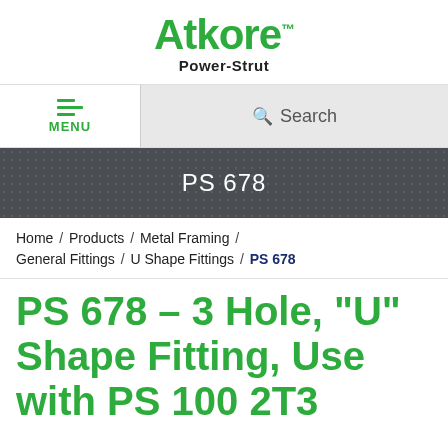[Figure (logo): Atkore Power-Strut logo with green Atkore wordmark and black Power-Strut subtitle]
MENU | Search
PS 678
Home / Products / Metal Framing / General Fittings / U Shape Fittings / PS 678
PS 678 – 3 Hole, "U" Shape Fitting, Use with PS 100 2T3